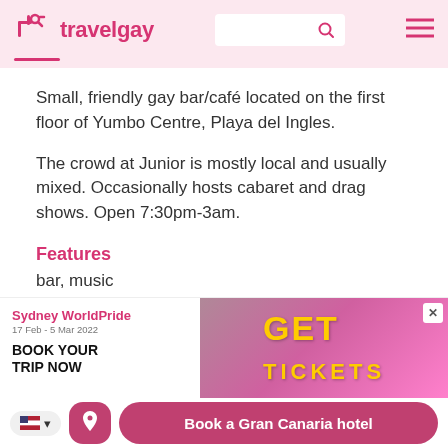travelgay
Small, friendly gay bar/café located on the first floor of Yumbo Centre, Playa del Ingles.
The crowd at Junior is mostly local and usually mixed. Occasionally hosts cabaret and drag shows. Open 7:30pm-3am.
Features
bar, music
Updated 21 May 2022
[Figure (screenshot): Advertisement banner for Sydney WorldPride 17 Feb - 5 Mar 2023, Book Your Trip Now]
Book a Gran Canaria hotel